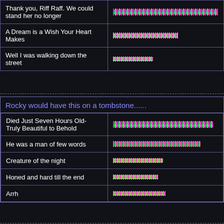| Song/Text | Bar |
| --- | --- |
| Thank you, Riff Raff. We could stand her no longer | [colorful bar - long] |
| A Dream is a Wish Your Heart Makes | [colorful bar - medium] |
| Well I was walking down the street | [colorful bar - short] |
Rocky would have this on a tombstone......
| Song/Text | Bar |
| --- | --- |
| Died Just Seven Hours Old- Truly Beautiful to Behold | [colorful bar - very long] |
| He was a man of few words | [colorful bar - long] |
| Creature of the night | [colorful bar - medium] |
| Honed and hard till the end | [colorful bar - medium] |
| Arrh | [colorful bar - medium] |